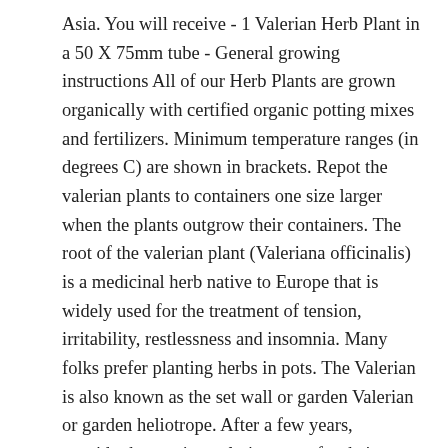Asia. You will receive - 1 Valerian Herb Plant in a 50 X 75mm tube - General growing instructions All of our Herb Plants are grown organically with certified organic potting mixes and fertilizers. Minimum temperature ranges (in degrees C) are shown in brackets. Repot the valerian plants to containers one size larger when the plants outgrow their containers. The root of the valerian plant (Valeriana officinalis) is a medicinal herb native to Europe that is widely used for the treatment of tension, irritability, restlessness and insomnia. Many folks prefer planting herbs in pots. The Valerian is also known as the set wall or garden Valerian or garden heliotrope. After a few years, consider harvesting valerian roots for their use as a relaxation aid. ", "Good article. Growing valerian in pots or other containers is doable. The plant can grow up to a height of 4 feet and hence you would love to plant in the back row in your garden. An ornamental plant with pinnate foliage and fragrant pale pink flowers during